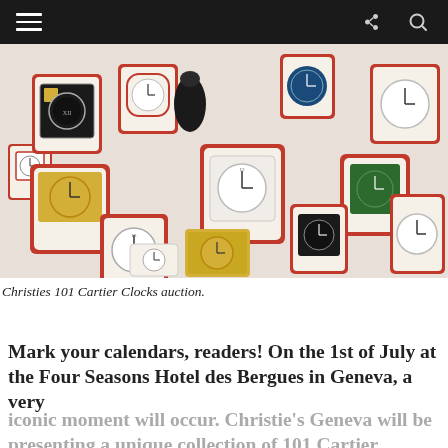Navigation bar with hamburger menu, share, and search icons
[Figure (photo): A large collection of Cartier clocks in red leather boxes displayed together, all open showing various clock faces, photographed on a white background.]
Christies 101 Cartier Clocks auction.
Mark your calendars, readers! On the 1st of July at the Four Seasons Hotel des Bergues in Geneva, a very iconic moment will occur. Christie's Geneva will be presenting a unique collection of 101 Cartier Clocks...